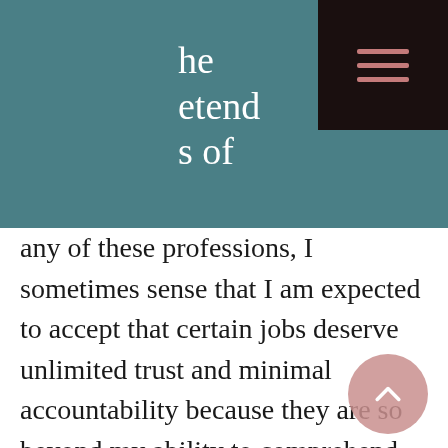he etend s of
any of these professions, I sometimes sense that I am expected to accept that certain jobs deserve unlimited trust and minimal accountability because they are so beyond my ability to comprehend. Although I consider it a mostly separate case, the adoption of the "Punisher" logo as a symbol of law enforcement is an extreme example of this. That message is antithetical to the accountability and oversight demanded by our democratic society.
People have every right to fly whatever flag they choose in our country. I mostly